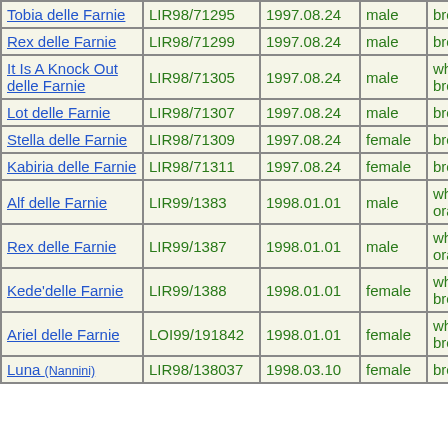| Name | Registration | Date | Sex | Color |  |
| --- | --- | --- | --- | --- | --- |
| Tobia delle Farnie | LIR98/71295 | 1997.08.24 | male | brown |  |
| Rex delle Farnie | LIR98/71299 | 1997.08.24 | male | brown |  |
| It Is A Knock Out delle Farnie | LIR98/71305 | 1997.08.24 | male | white with brown |  |
| Lot delle Farnie | LIR98/71307 | 1997.08.24 | male | brown |  |
| Stella delle Farnie | LIR98/71309 | 1997.08.24 | female | brown |  |
| Kabiria delle Farnie | LIR98/71311 | 1997.08.24 | female | brownroan |  |
| Alf delle Farnie | LIR99/1383 | 1998.01.01 | male | white with orange |  |
| Rex delle Farnie | LIR99/1387 | 1998.01.01 | male | white with orange |  |
| Kede'delle Farnie | LIR99/1388 | 1998.01.01 | female | white with brown | B |
| Ariel delle Farnie | LOI99/191842 | 1998.01.01 | female | white with brown | B |
| Luna (Nannini) | LIR98/138037 | 1998.03.10 | female | brown |  |